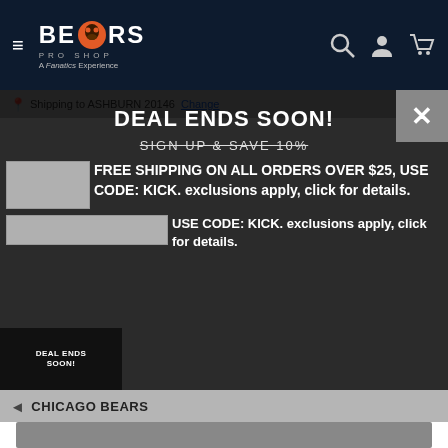Bears Pro Shop — A Fanatics Experience
Shipping to ASHBURN 20146 Change
DEAL ENDS SOON!
SIGN UP & SAVE 10%
FREE SHIPPING ON ALL ORDERS OVER $25, USE CODE: KICK. exclusions apply, click for details.
CHICAGO BEARS